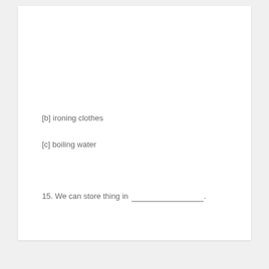[b] ironing clothes
[c] boiling water
15. We can store thing in _______________.